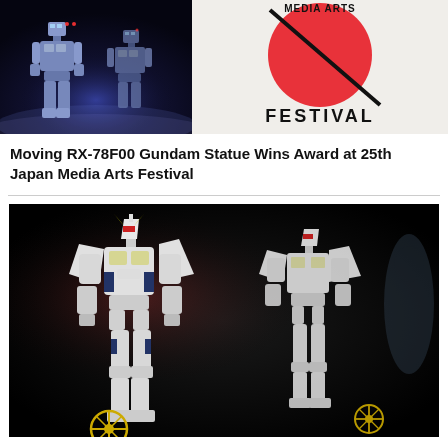[Figure (photo): Two blue-lit humanoid robot/mech statues standing in a dark, atmospheric setting with fog or mist]
[Figure (logo): Japan Media Arts Festival logo — red circle with a diagonal line and the text FESTIVAL in bold black lettering]
Moving RX-78F00 Gundam Statue Wins Award at 25th Japan Media Arts Festival
[Figure (photo): Two white and gold Gundam Hathaway's Flash mech model figures on black background with golden Mafty Mark symbols]
Gundam Hathaway's Flash “Mafty Mark”Acrylic Logo Display Announced